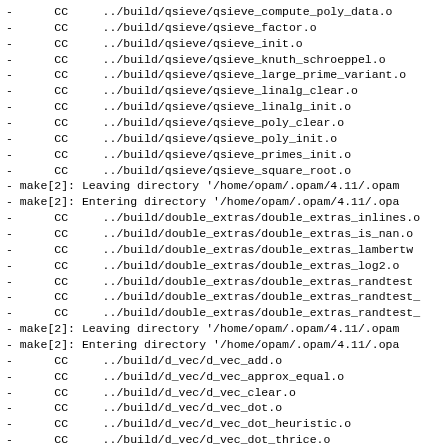- CC ../build/qsieve/qsieve_compute_poly_data.o
- CC ../build/qsieve/qsieve_factor.o
- CC ../build/qsieve/qsieve_init.o
- CC ../build/qsieve/qsieve_knuth_schroeppel.o
- CC ../build/qsieve/qsieve_large_prime_variant.o
- CC ../build/qsieve/qsieve_linalg_clear.o
- CC ../build/qsieve/qsieve_linalg_init.o
- CC ../build/qsieve/qsieve_poly_clear.o
- CC ../build/qsieve/qsieve_poly_init.o
- CC ../build/qsieve/qsieve_primes_init.o
- CC ../build/qsieve/qsieve_square_root.o
- make[2]: Leaving directory '/home/opam/.opam/4.11/.opam
- make[2]: Entering directory '/home/opam/.opam/4.11/.opa
- CC ../build/double_extras/double_extras_inlines.o
- CC ../build/double_extras/double_extras_is_nan.o
- CC ../build/double_extras/double_extras_lambertw
- CC ../build/double_extras/double_extras_log2.o
- CC ../build/double_extras/double_extras_randtest
- CC ../build/double_extras/double_extras_randtest_
- CC ../build/double_extras/double_extras_randtest_
- make[2]: Leaving directory '/home/opam/.opam/4.11/.opam
- make[2]: Entering directory '/home/opam/.opam/4.11/.opa
- CC ../build/d_vec/d_vec_add.o
- CC ../build/d_vec/d_vec_approx_equal.o
- CC ../build/d_vec/d_vec_clear.o
- CC ../build/d_vec/d_vec_dot.o
- CC ../build/d_vec/d_vec_dot_heuristic.o
- CC ../build/d_vec/d_vec_dot_thrice.o
- CC ../build/d_vec/d_vec_equal.o
- CC ../build/d_vec/d_vec_init.o
- CC ../build/d_vec/d_vec_init.o